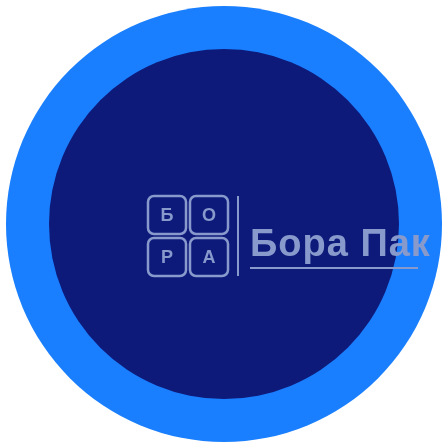[Figure (logo): Bora Pak company logo: a bright blue circle background with a large dark navy blue circle in the center. Inside the navy circle, a logo mark consisting of a 2x2 grid of rounded squares each containing Cyrillic letters (Б, О, Р, А), followed by a vertical divider line, and the company name 'Бора Пак' in light grey/silver bold Cyrillic text, with an underline beneath the text.]